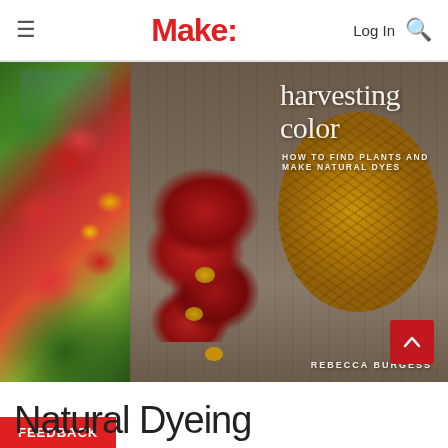Make:
[Figure (photo): Book cover of 'Harvesting Color: How to Find Plants and Make Natural Dyes' by Rebecca Burgess. Left panel shows hands picking red, yellow, and orange flowers in a garden. Center panel shows red zinnia flowers arranged on a wooden surface. Right panel shows a golden-yellow skein of yarn on a wooden surface.]
Natural Dyeing